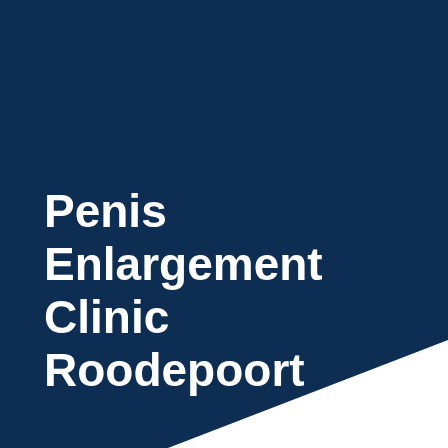Penis Enlargement Clinic Roodepoort